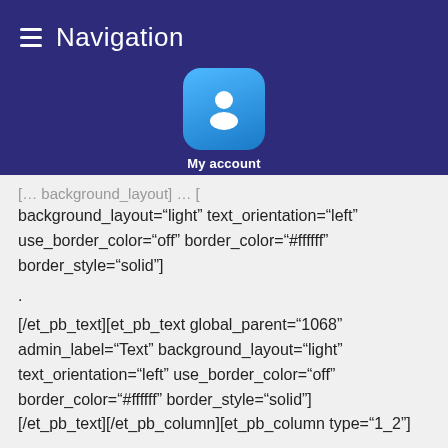Navigation
[Figure (illustration): My account icon — a blue rounded square with a white person silhouette and label 'My account' below]
background_layout="light" text_orientation="left" use_border_color="off" border_color="#ffffff" border_style="solid"]
.
[/et_pb_text][et_pb_text global_parent="1068" admin_label="Text" background_layout="light" text_orientation="left" use_border_color="off" border_color="#ffffff" border_style="solid"] [/et_pb_text][/et_pb_column][et_pb_column type="1_2"]